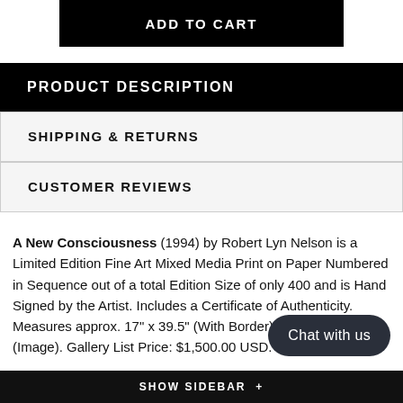ADD TO CART
PRODUCT DESCRIPTION
SHIPPING & RETURNS
CUSTOMER REVIEWS
A New Consciousness (1994) by Robert Lyn Nelson is a Limited Edition Fine Art Mixed Media Print on Paper Numbered in Sequence out of a total Edition Size of only 400 and is Hand Signed by the Artist. Includes a Certificate of Authenticity. Measures approx. 17" x 39.5" (With Border) and 13" x 34.5" (Image). Gallery List Price: $1,500.00 USD.
American Marine Life Artist Robert Lyn ... tes
SHOW SIDEBAR +